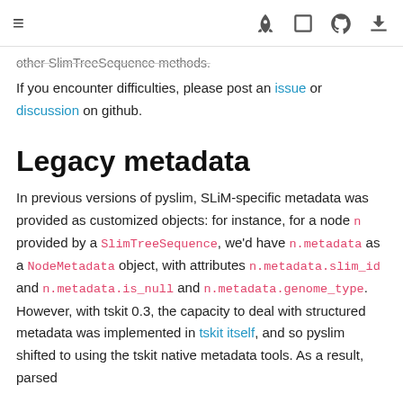≡  🚀  ⛶  ⌥  ⬇
other SlimTreeSequence methods.
If you encounter difficulties, please post an issue or discussion on github.
Legacy metadata
In previous versions of pyslim, SLiM-specific metadata was provided as customized objects: for instance, for a node n provided by a SlimTreeSequence, we'd have n.metadata as a NodeMetadata object, with attributes n.metadata.slim_id and n.metadata.is_null and n.metadata.genome_type. However, with tskit 0.3, the capacity to deal with structured metadata was implemented in tskit itself, and so pyslim shifted to using the tskit native metadata tools. As a result, parsed